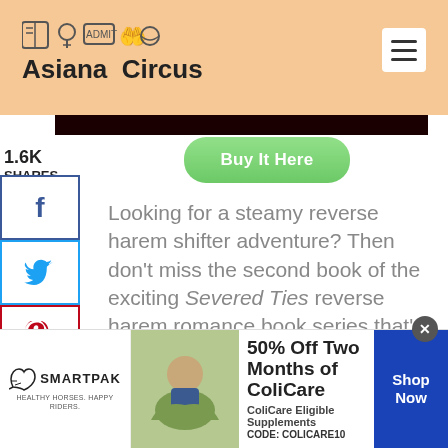[Figure (logo): Asiana Circus logo with icons and text on peach/orange background]
1.6K
SHARES
[Figure (infographic): Social share buttons: Facebook (f), Twitter (bird), Pinterest (P), Email (envelope)]
[Figure (other): Green Buy It Here button]
Looking for a steamy reverse harem shifter adventure? Then don't miss the second book of the exciting Severed Ties reverse harem romance book series that's just as adventurous and steamy as the first one.
Cleo and her mates are really turning the
[Figure (photo): SmartPak advertisement banner with horse and rider photo, 50% Off Two Months of ColiCare offer, Code: COLICARE10, Shop Now button]